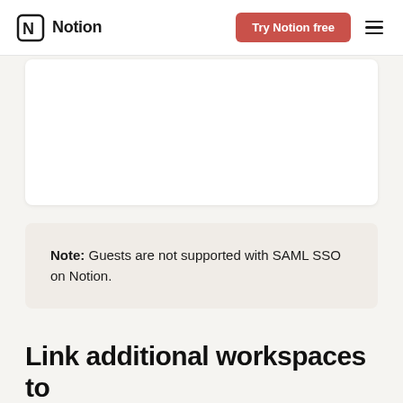Notion | Try Notion free
[Figure (screenshot): White card/screenshot area placeholder]
Note: Guests are not supported with SAML SSO on Notion.
Link additional workspaces to